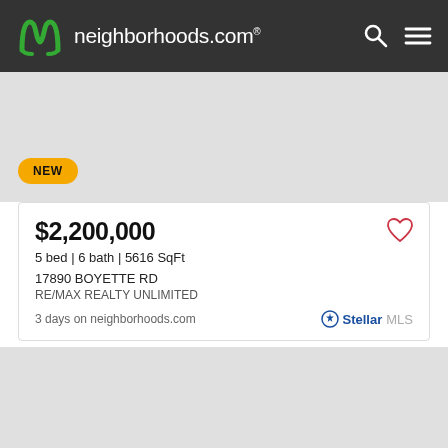neighborhoods.com
[Figure (photo): Gray placeholder image area with NEW badge]
$2,200,000
5 bed | 6 bath | 5616 SqFt
17890 BOYETTE RD
RE/MAX REALTY UNLIMITED
3 days on neighborhoods.com
[Figure (photo): Gray placeholder image area with navigation arrows]